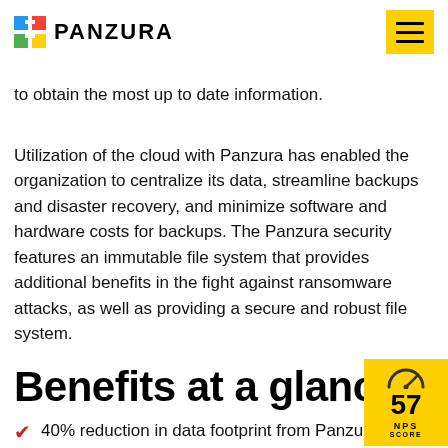PANZURA
to obtain the most up to date information.
Utilization of the cloud with Panzura has enabled the organization to centralize its data, streamline backups and disaster recovery, and minimize software and hardware costs for backups. The Panzura security features an immutable file system that provides additional benefits in the fight against ransomware attacks, as well as providing a secure and robust file system.
Benefits at a glance
[Figure (infographic): NPS Score badge showing 57 NPS Score with a gauge/speedometer icon, yellow background]
40% reduction in data footprint from Panzura's intelligent deduplication.